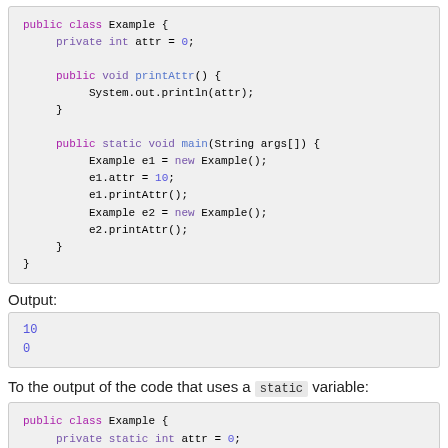[Figure (screenshot): Java code block showing public class Example with private int attr = 0, printAttr() method, and main method creating two Example objects]
Output:
[Figure (screenshot): Output block showing two lines: 10 and 0]
To the output of the code that uses a static variable:
[Figure (screenshot): Java code block showing public class Example with private static int attr = 0]